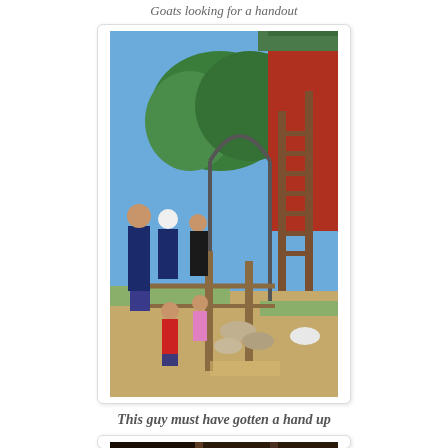Goats looking for a handout
[Figure (photo): Outdoor farm scene showing families with children feeding goats through a fence, with a red barn structure in the background and trees visible. Children and adults gathered along a wooden fence rail.]
This guy must have gotten a hand up
[Figure (photo): Partially visible photo, appears to show an indoor or darker setting, partially cut off at bottom of page.]